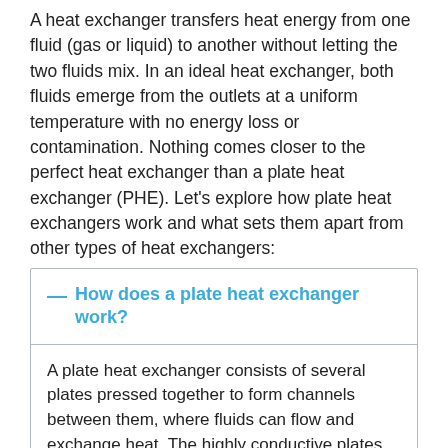A heat exchanger transfers heat energy from one fluid (gas or liquid) to another without letting the two fluids mix. In an ideal heat exchanger, both fluids emerge from the outlets at a uniform temperature with no energy loss or contamination. Nothing comes closer to the perfect heat exchanger than a plate heat exchanger (PHE). Let's explore how plate heat exchangers work and what sets them apart from other types of heat exchangers:
— How does a plate heat exchanger work?
A plate heat exchanger consists of several plates pressed together to form channels between them, where fluids can flow and exchange heat. The highly conductive plates are packed in a tight stack, with adjacent